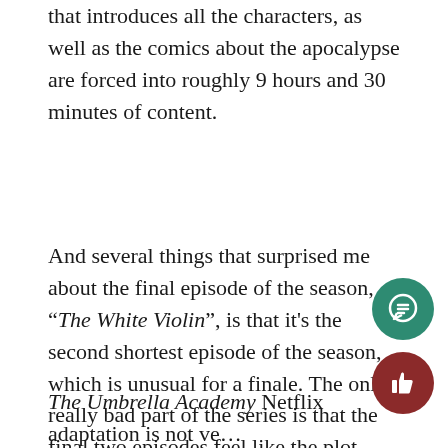that introduces all the characters, as well as the comics about the apocalypse are forced into roughly 9 hours and 30 minutes of content.
And several things that surprised me about the final episode of the season, “The White Violin”, is that it’s the second shortest episode of the season, which is unusual for a finale. The only really bad part of the series is that the final two episodes feel like the plot moves very quickly to make that ten episode mark and set up season two, but other than that, the story is well-written, very enjoyable and is often lots of fun for the majority of the episodes.
The Umbrella Academy Netflix adaptation is not very faithful to the source material, but that’s not a bad